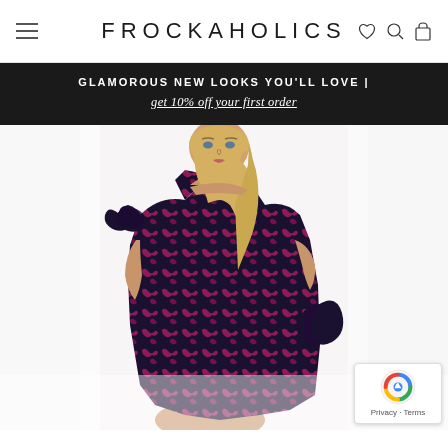FROCKAHOLICS
GLAMOROUS NEW LOOKS YOU'LL LOVE | get 10% off your first order
[Figure (photo): A blonde female model wearing a dark navy and fuchsia pink floral jacquard one-shoulder dress with ruffle bow detail at the shoulder and hip, posing against a white background.]